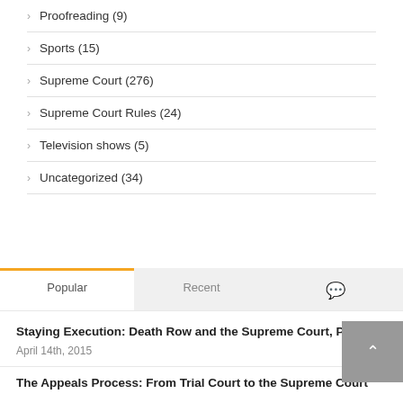Proofreading (9)
Sports (15)
Supreme Court (276)
Supreme Court Rules (24)
Television shows (5)
Uncategorized (34)
Popular | Recent | [comments icon]
Staying Execution: Death Row and the Supreme Court, Part I
April 14th, 2015
The Appeals Process: From Trial Court to the Supreme Court